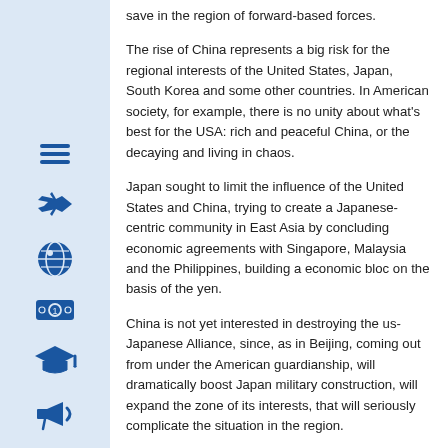save in the region of forward-based forces.
The rise of China represents a big risk for the regional interests of the United States, Japan, South Korea and some other countries. In American society, for example, there is no unity about what's best for the USA: rich and peaceful China, or the decaying and living in chaos.
Japan sought to limit the influence of the United States and China, trying to create a Japanese-centric community in East Asia by concluding economic agreements with Singapore, Malaysia and the Philippines, building a economic bloc on the basis of the yen.
China is not yet interested in destroying the us-Japanese Alliance, since, as in Beijing, coming out from under the American guardianship, will dramatically boost Japan military construction, will expand the zone of its interests, that will seriously complicate the situation in the region.
Tokyo supports the peaceful reunification of the two Koreas, the improvement of relations between the PRC and Taiwan. The probability of establishment by Japan of nuclear weapons will